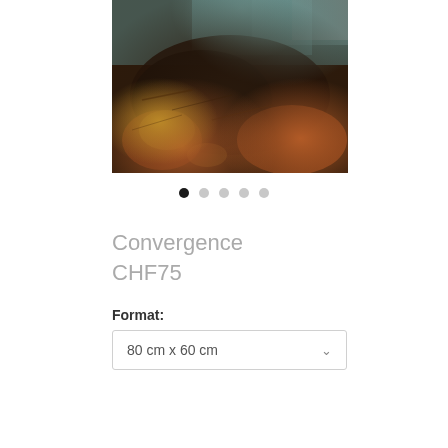[Figure (photo): Abstract painting with rust browns, deep dark browns, teal/turquoise blues and golden highlights — textured impasto surface]
[Figure (other): Carousel navigation dots: 5 dots, first one filled black, remaining 4 in light grey]
Convergence
CHF75
Format:
80 cm x 60 cm